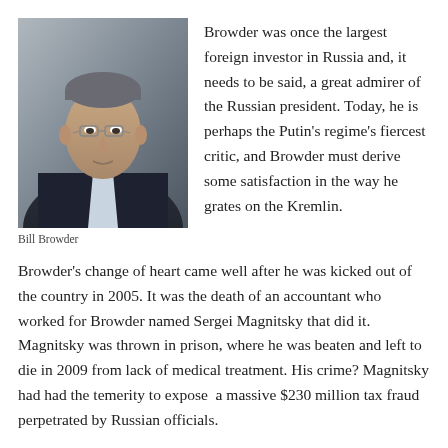[Figure (photo): Portrait photo of Bill Browder, a middle-aged man with glasses wearing a dark suit jacket and light shirt, against a grey background.]
Bill Browder
Browder was once the largest foreign investor in Russia and, it needs to be said, a great admirer of the Russian president. Today, he is perhaps the Putin's regime's fiercest critic, and Browder must derive some satisfaction in the way he grates on the Kremlin.
Browder's change of heart came well after he was kicked out of the country in 2005. It was the death of an accountant who worked for Browder named Sergei Magnitsky that did it. Magnitsky was thrown in prison, where he was beaten and left to die in 2009 from lack of medical treatment. His crime? Magnitsky had had the temerity to expose a massive $230 million tax fraud perpetrated by Russian officials.
In response, Browder lobbied Congress to draft legislation imposing sanctions on the Russian officials responsible for Magnitsky's death. The Magnitsky Act was signed into law by President Obama in 2012. Browder